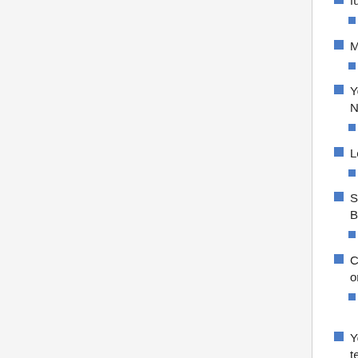furniture.
Granite(花崗岩ブロック)と Marble(大理石)で家具が作れるようになった
Martian Furniture can now be crafted.
火星家具の追加
You can now craft Enchanted Nightcrawlers.
Enchanted Nightcrawlerの追加と変更
Lowered the cost for Meteor Gear.
Meteoriteのクラフトコストの変更
Space Gun now only requires Meteorite Bars.
Space Gun・Meteorite Barのクラフトコストの変更
Crimtane and Demonite bars now cost 3 ore.
Crimtane Bar・Demonite Barのクラフトコストの変更 (Ore 4->3)
You can now craft Target Dummies to test your damage per second.
Target Dummie(案山子)のクラフト追加・damage per second(DPS 1秒間のダメージ)の追加
Avenger Emblems are now crafted from